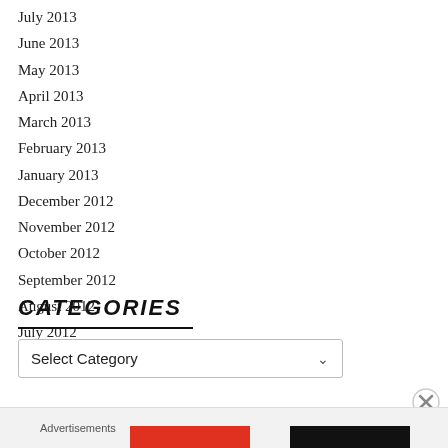July 2013
June 2013
May 2013
April 2013
March 2013
February 2013
January 2013
December 2012
November 2012
October 2012
September 2012
August 2012
July 2012
CATEGORIES
Select Category
Advertisements